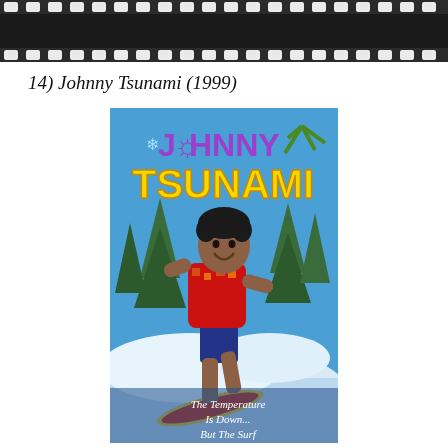[Figure (illustration): Film strip graphic banner at top of page]
14) Johnny Tsunami (1999)
[Figure (photo): Movie poster for Johnny Tsunami (1999) showing a boy surfing on snow with 'JOHNNY TSUNAMI' title text and tagline 'The Temperature Is Down... But The Surf']